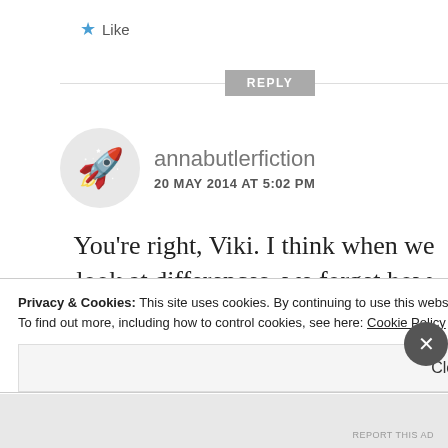★ Like
REPLY
[Figure (screenshot): User avatar with rocket emoji icon in a circular grey background]
annabutlerfiction
20 MAY 2014 AT 5:02 PM
You're right, Viki. I think when we look at differences, we forget how tiny they are against
Privacy & Cookies: This site uses cookies. By continuing to use this website, you agree to their use.
To find out more, including how to control cookies, see here: Cookie Policy
Close and accept